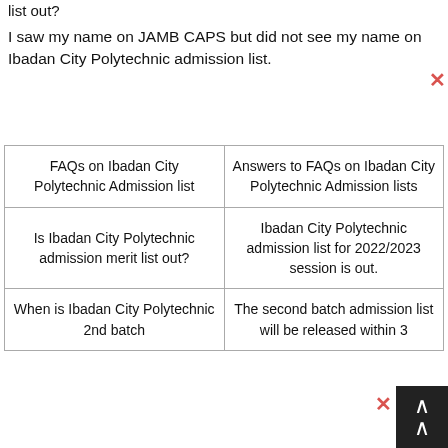list out?
I saw my name on JAMB CAPS but did not see my name on Ibadan City Polytechnic admission list.
| FAQs on Ibadan City Polytechnic Admission list | Answers to FAQs on Ibadan City Polytechnic Admission lists |
| --- | --- |
| Is Ibadan City Polytechnic admission merit list out? | Ibadan City Polytechnic admission list for 2022/2023 session is out. |
| When is Ibadan City Polytechnic 2nd batch | The second batch admission list will be released within 3 |